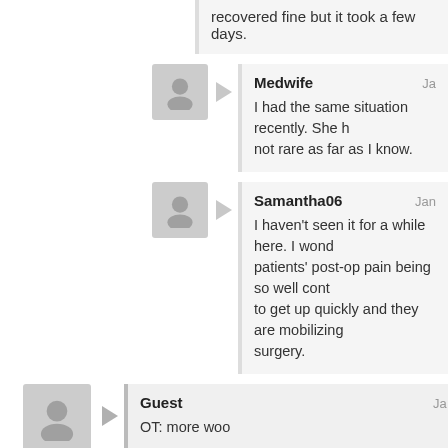recovered fine but it took a few days.
Medwife
I had the same situation recently. She h... not rare as far as I know.
Samantha06
I haven't seen it for a while here. I wond... patients' post-op pain being so well cont... to get up quickly and they are mobilizing... surgery.
Guest
OT: more woo
http://america.aljazeera.com/opinions/2015/1/the-attack-